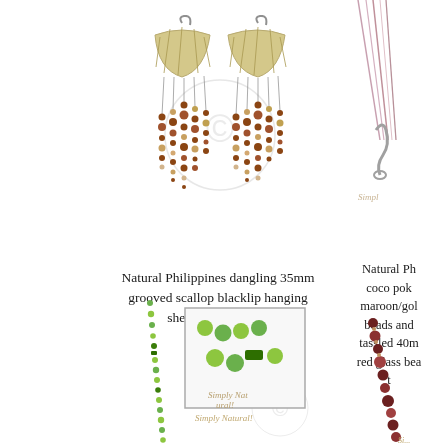[Figure (photo): Dangling shell earrings with grooved scallop/blacklip top and hanging horn beads, shown as a pair on white background with watermark copyright symbol]
Natural Philippines dangling 35mm grooved scallop blacklip hanging shell & horn beads
[Figure (photo): Partial view of right-side earring/necklace item with pink/maroon cord and silver clasp, with 'Simpl...' watermark logo]
Natural Ph... coco pok... maroon/gold... beads and ... tassled 40m... red glass bea... t...
[Figure (photo): Green beaded necklace/bracelet with small lime-green beads and dark accent beads, with inset close-up showing clasp detail and Simply Natural! logo watermark]
[Figure (photo): Partial view of dark red/maroon beaded necklace on right side with Si... watermark logo]